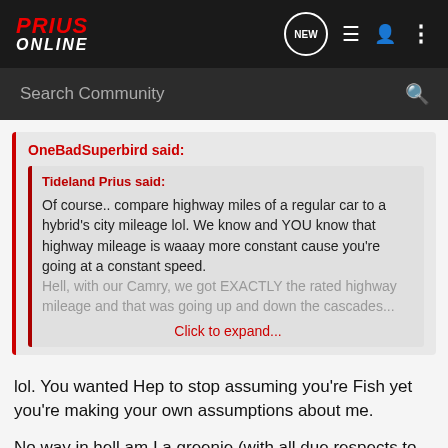PRIUS ONLINE — NEW — Search Community
OneBadSuperbird said:
Tideland Prius said:
Of course.. compare highway miles of a regular car to a hybrid's city mileage lol. We know and YOU know that highway mileage is waaay more constant cause you're going at a constant speed. Hell, with our Camry, we got EXACTLY the rated highway mileage and that was going up and down the cascades...
Click to expand...
lol. You wanted Hep to stop assuming you're Fish yet you're making your own assumptions about me.
No way in hell am I a greenie (with all due respects to those who are). Trust me, you won't see me tree hugging or on "save the moths" campaigns.